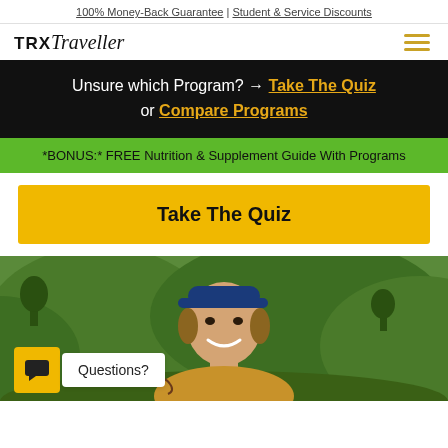100% Money-Back Guarantee | Student & Service Discounts
[Figure (logo): TRX Traveller logo with hamburger menu icon]
Unsure which Program? → Take The Quiz or Compare Programs
*BONUS:* FREE Nutrition & Supplement Guide With Programs
Take The Quiz
[Figure (photo): Young smiling man wearing a blue cap outdoors with green hills in background, with chat widget overlay showing 'Questions?']